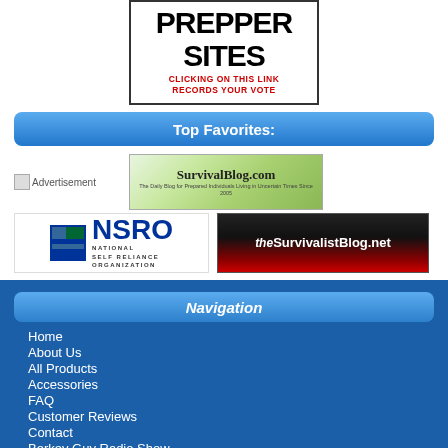[Figure (screenshot): PREPPER SITES banner with text 'CLICKING ON THIS LINK RECORDS YOUR VOTE' in red]
Top Favorites:
[Figure (screenshot): Advertisement placeholder icon]
[Figure (screenshot): SurvivalBlog.com banner - The Daily Blog for Prepared Individuals Living in Uncertain Times Since 2005]
[Figure (logo): NSRO - National Self Reliance Organization logo]
[Figure (screenshot): theSurvivalistBlog.net banner]
Navigation
Home
About Us
All Products
Accessories
FAQ
Customer Reviews
Contact
Berkey Guy Radio Show
Terms & Conditions / Privacy Policy